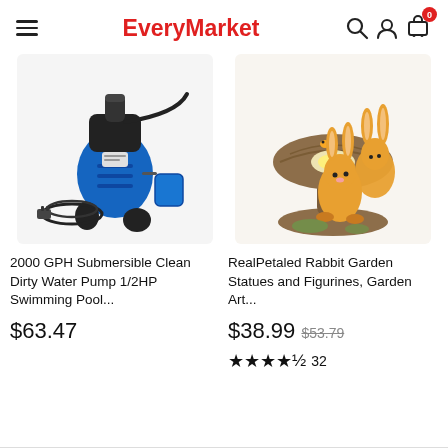EveryMarket
[Figure (photo): Blue and black 2000 GPH submersible water pump with power cord and float switch]
2000 GPH Submersible Clean Dirty Water Pump 1/2HP Swimming Pool...
$63.47
[Figure (photo): Decorative garden statue of two rabbits around a mushroom with glowing light]
RealPetaled Rabbit Garden Statues and Figurines, Garden Art...
$38.99 $53.79
★★★★½ 32